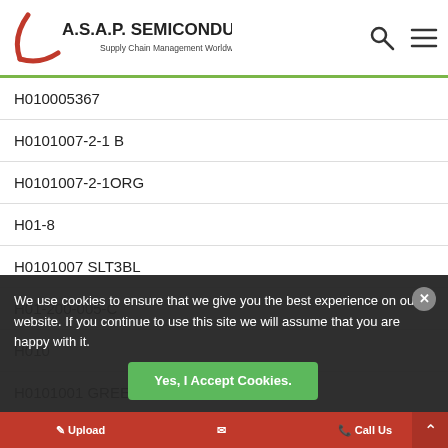A.S.A.P. SEMICONDUCTOR – Supply Chain Management Worldwide
H010005367
H0101007-2-1 B
H0101007-2-1ORG
H01-8
H0101007 SLT3BL
H01-200-005-C
H010
H0101001 GREEN
H0101007-2-1 BL
H0101007-2-1
H0101007 GRN3BL
H0101007-2-1YB
H0101007-2-1YEL
We use cookies to ensure that we give you the best experience on our website. If you continue to use this site we will assume that you are happy with it.